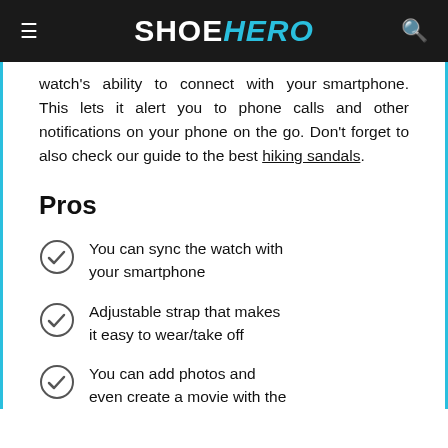SHOEHERO
watch's ability to connect with your smartphone. This lets it alert you to phone calls and other notifications on your phone on the go. Don't forget to also check our guide to the best hiking sandals.
Pros
You can sync the watch with your smartphone
Adjustable strap that makes it easy to wear/take off
You can add photos and even create a movie with the